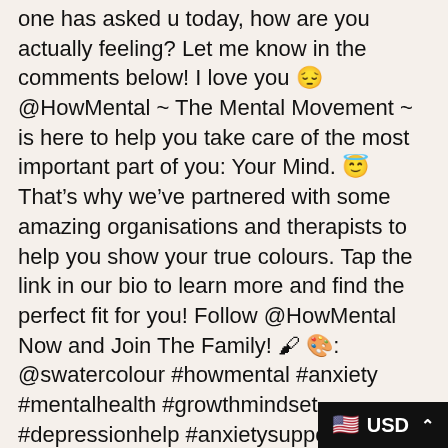one has asked u today, how are you actually feeling? Let me know in the comments below! I love you 😔 @HowMental ~ The Mental Movement ~ is here to help you take care of the most important part of you: Your Mind. 😇 That's why we've partnered with some amazing organisations and therapists to help you show your true colours. Tap the link in our bio to learn more and find the perfect fit for you! Follow @HowMental Now and Join The Family! 🖌 🎨: @swatercolour #howmental #anxiety #mentalhealth #growthmindset #depressionhelp #anxietysupport #anxietyawareness #mentalhealthawareness #motivationnation #motivationalwords #motivationalpost #selfgrowth #depressionawareness #mentalwellness #mindsetmatters #encourageothers #mindsetshift #youareworthit #posit
[Figure (other): Currency selector badge showing US flag emoji and 'USD' text with a caret/chevron, dark background, positioned at bottom right]